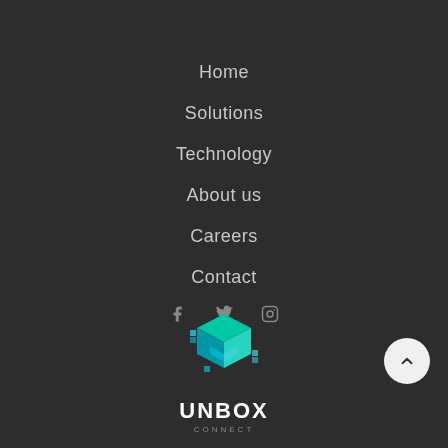Home
Solutions
Technology
About us
Careers
Contact
[Figure (logo): Three social media icons (Facebook, Twitter/X, Instagram) in gray]
[Figure (logo): UNBOX logo with teal/cyan 3D cube and UNBOX text below]
[Figure (other): Back-to-top button: white circle with upward chevron arrow]